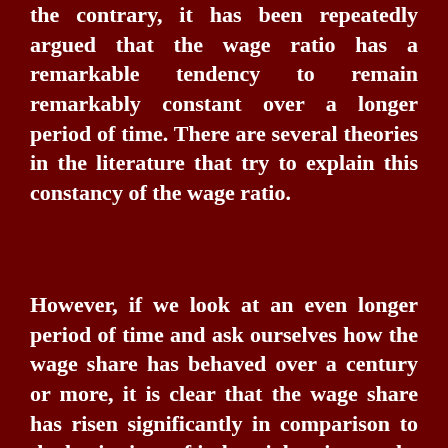the contrary, it has been repeatedly argued that the wage ratio has a remarkable tendency to remain remarkably constant over a longer period of time. There are several theories in the literature that try to explain this constancy of the wage ratio.
However, if we look at an even longer period of time and ask ourselves how the wage share has behaved over a century or more, it is clear that the wage share has risen significantly in comparison to the beginnings of industrial society at the beginning of the 19th century. This does not mean that there